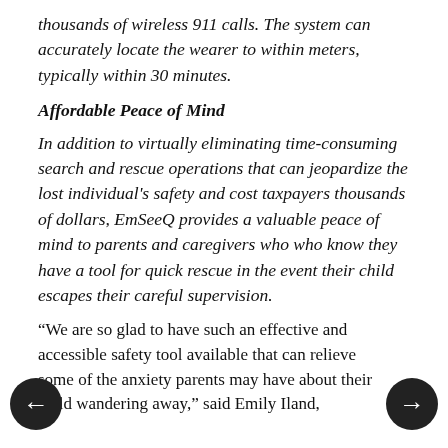thousands of wireless 911 calls. The system can accurately locate the wearer to within meters, typically within 30 minutes.
Affordable Peace of Mind
In addition to virtually eliminating time-consuming search and rescue operations that can jeopardize the lost individual's safety and cost taxpayers thousands of dollars, EmSeeQ provides a valuable peace of mind to parents and caregivers who know they have a tool for quick rescue in the event their child escapes their careful supervision.
“We are so glad to have such an effective and accessible safety tool available that can relieve some of the anxiety parents may have about their child wandering away,” said Emily Iland,